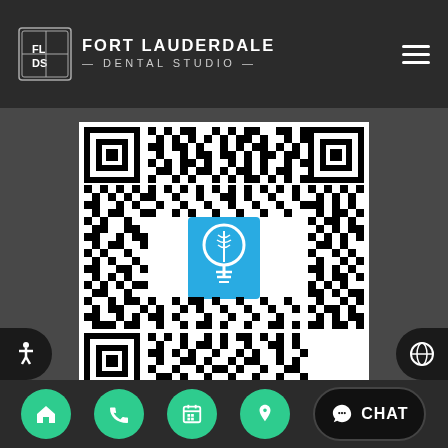FORT LAUDERDALE DENTAL STUDIO
[Figure (other): QR code with a dental/medical lightbulb logo in the center, black and white QR pattern on white background]
Scan here to view this page, Dental Procedures, on mobile
Navigation bar with home, phone, calendar, location, and chat buttons